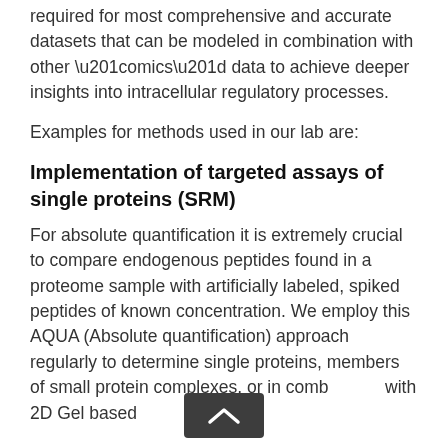required for most comprehensive and accurate datasets that can be modeled in combination with other “omics” data to achieve deeper insights into intracellular regulatory processes.
Examples for methods used in our lab are:
Implementation of targeted assays of single proteins (SRM)
For absolute quantification it is extremely crucial to compare endogenous peptides found in a proteome sample with artificially labeled, spiked peptides of known concentration. We employ this AQUA (Absolute quantification) approach regularly to determine single proteins, members of small protein complexes, or in combination with 2D Gel based